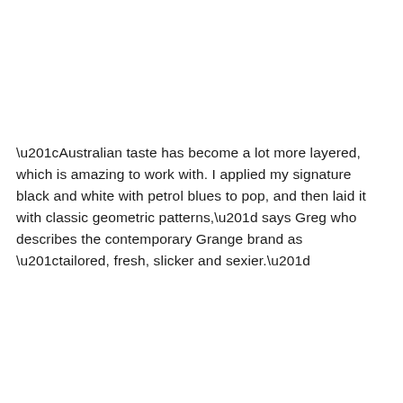“Australian taste has become a lot more layered, which is amazing to work with. I applied my signature black and white with petrol blues to pop, and then laid it with classic geometric patterns,” says Greg who describes the contemporary Grange brand as “tailored, fresh, slicker and sexier.”